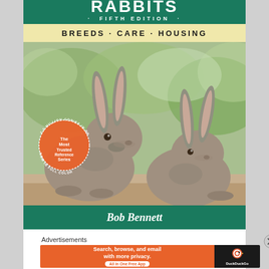RABBITS
FIFTH EDITION
BREEDS · CARE · HOUSING
[Figure (photo): Book cover photo showing two grey rabbits on a wooden surface with a green blurred background. A circular orange badge reads '2.2 Million Copies in Print · The Most Trusted Reference Series · Now in Full Color']
Bob Bennett
Advertisements
[Figure (screenshot): DuckDuckGo advertisement banner: 'Search, browse, and email with more privacy. All in One Free App' with DuckDuckGo logo on dark background]